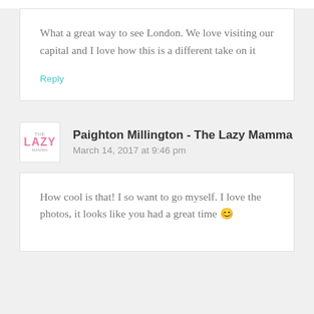What a great way to see London. We love visiting our capital and I love how this is a different take on it
Reply
Paighton Millington - The Lazy Mamma
March 14, 2017 at 9:46 pm
How cool is that! I so want to go myself. I love the photos, it looks like you had a great time 😊